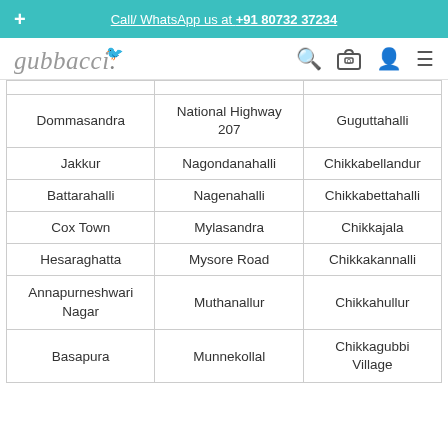+ Call/ WhatsApp us at +91 80732 37234
[Figure (logo): Gubbacci logo with teal bird and italic text, navigation icons (search, cart, account, menu)]
| Dommasandra | National Highway 207 | Guguttahalli |
| Jakkur | Nagondanahalli | Chikkabellandur |
| Battarahalli | Nagenahalli | Chikkabettahalli |
| Cox Town | Mylasandra | Chikkajala |
| Hesaraghatta | Mysore Road | Chikkakannalli |
| Annapurneshwari Nagar | Muthanallur | Chikkahullur |
| Basapura | Munnekollal | Chikkagubbi Village |